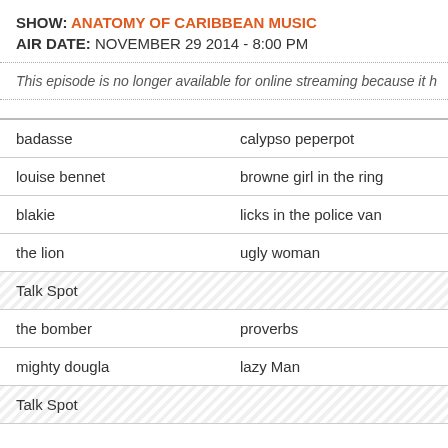SHOW: ANATOMY OF CARIBBEAN MUSIC
AIR DATE: NOVEMBER 29 2014 - 8:00 PM
This episode is no longer available for online streaming because it h
| artist | song |
| --- | --- |
| badasse | calypso peperpot |
| louise bennet | browne girl in the ring |
| blakie | licks in the police van |
| the lion | ugly woman |
| Talk Spot |  |
| the bomber | proverbs |
| mighty dougla | lazy Man |
| Talk Spot |  |